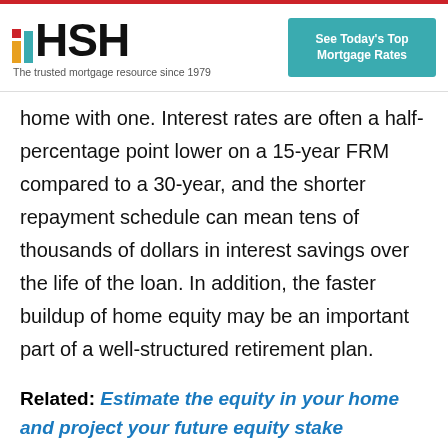HSH — The trusted mortgage resource since 1979
home with one. Interest rates are often a half-percentage point lower on a 15-year FRM compared to a 30-year, and the shorter repayment schedule can mean tens of thousands of dollars in interest savings over the life of the loan. In addition, the faster buildup of home equity may be an important part of a well-structured retirement plan.
Related: Estimate the equity in your home and project your future equity stake